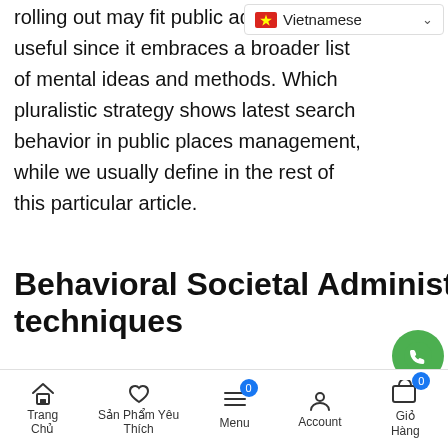rolling out may fit public adm…readily useful since it embraces a broader list of mental ideas and methods. Which pluralistic strategy shows latest search behavior in public places management, while we usually define in the rest of this particular article.
[Figure (screenshot): Vietnamese language selector dropdown button with flag icon]
Behavioral Societal Administration: Theory and techniques
We currently change the attention off just how most other sphere has actually provided emotional
[Figure (infographic): Floating action buttons: phone (green), messenger (blue), Zalo (blue), scroll-to-top (dark)]
Trang Chủ | Sản Phẩm Yêu Thích | Menu | Account | Giỏ Hàng